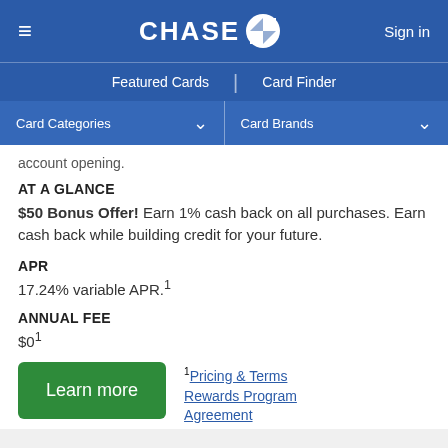CHASE | Sign in
Featured Cards | Card Finder
Card Categories ∨ | Card Brands ∨
account opening.
AT A GLANCE
$50 Bonus Offer! Earn 1% cash back on all purchases. Earn cash back while building credit for your future.
APR
17.24% variable APR.¹
ANNUAL FEE
$0¹
¹Pricing & Terms
Rewards Program Agreement